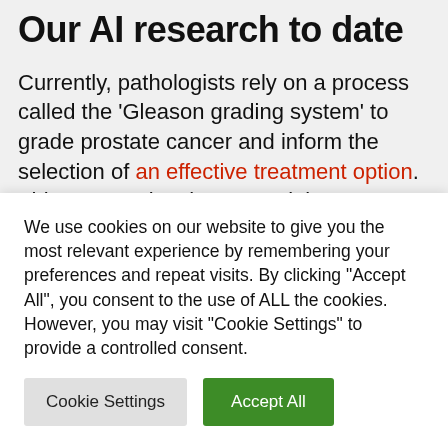Our AI research to date
Currently, pathologists rely on a process called the 'Gleason grading system' to grade prostate cancer and inform the selection of an effective treatment option. This process involves examining tumor samples under a microscope for tissue growth patterns that indicate the aggressiveness of the cancer. Over the past few years, research teams at Google have developed AI
We use cookies on our website to give you the most relevant experience by remembering your preferences and repeat visits. By clicking "Accept All", you consent to the use of ALL the cookies. However, you may visit "Cookie Settings" to provide a controlled consent.